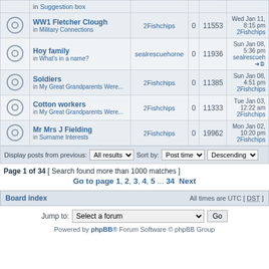|  | Topic | Author | Replies | Views | Last post |
| --- | --- | --- | --- | --- | --- |
|  | WW1 Fletcher Clough
in Military Connections | 2Fishchips | 0 | 11553 | Wed Jan 11, 8:15 pm
2Fishchips |
|  | Hoy family
in What's in a name? | sealrescuehorne | 0 | 11936 | Sun Jan 08, 5:36 pm
sealrescueh... |
|  | Soldiers
in My Great Grandparents Were... | 2Fishchips | 0 | 11385 | Sun Jan 08, 4:51 pm
2Fishchips |
|  | Cotton workers
in My Great Grandparents Were... | 2Fishchips | 0 | 11333 | Tue Jan 03, 12:22 am
2Fishchips |
|  | Mr Mrs J Fielding
in Surname Interests | 2Fishchips | 0 | 19962 | Mon Jan 02, 10:20 pm
2Fishchips |
Display posts from previous: All results   Sort by: Post time   Descending
Page 1 of 34 [ Search found more than 1000 matches ]
Go to page 1, 2, 3, 4, 5 ... 34  Next
Board index    All times are UTC [ DST ]
Jump to: Select a forum   Go
Powered by phpBB® Forum Software © phpBB Group